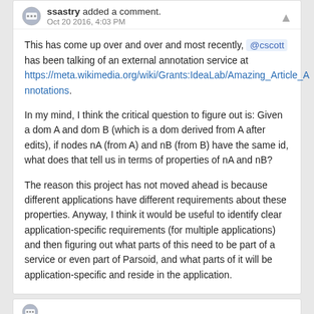ssastry added a comment. Oct 20 2016, 4:03 PM
This has come up over and over and most recently, @cscott has been talking of an external annotation service at https://meta.wikimedia.org/wiki/Grants:IdeaLab/Amazing_Article_Annotations.
In my mind, I think the critical question to figure out is: Given a dom A and dom B (which is a dom derived from A after edits), if nodes nA (from A) and nB (from B) have the same id, what does that tell us in terms of properties of nA and nB?
The reason this project has not moved ahead is because different applications have different requirements about these properties. Anyway, I think it would be useful to identify clear application-specific requirements (for multiple applications) and then figuring out what parts of this need to be part of a service or even part of Parsoid, and what parts of it will be application-specific and reside in the application.